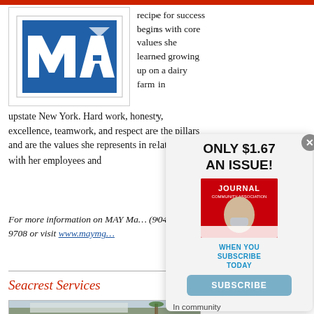[Figure (logo): MAY Management logo — blue square with white block letters MAY and a triangle/arrow shape]
recipe for success begins with core values she learned growing up on a dairy farm in upstate New York. Hard work, honesty, excellence, teamwork, and respect are the pillars and are the values she represents in relationships with her employees and…
For more information on MAY Ma… (904) 461-9708 or visit www.maymg…
Seacrest Services
[Figure (photo): Exterior photo of Seacrest Services building with palm trees]
[Figure (screenshot): Popup overlay showing subscription offer: ONLY $1.67 AN ISSUE! with magazine cover image, WHEN YOU SUBSCRIBE TODAY, and SUBSCRIBE button]
In community